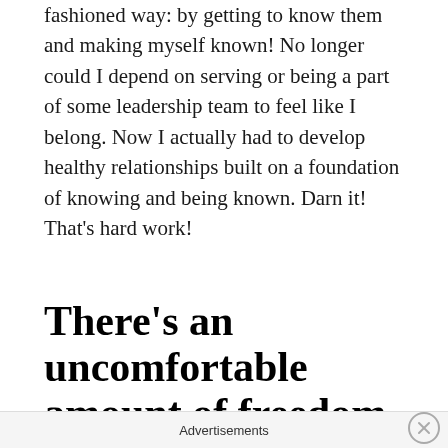fashioned way: by getting to know them and making myself known! No longer could I depend on serving or being a part of some leadership team to feel like I belong. Now I actually had to develop healthy relationships built on a foundation of knowing and being known. Darn it! That's hard work!
There's an uncomfortable amount of freedom.
Don't get me wrong! I love freedom, but things can get really weird when people start expressing themselves in ways I'm not comfortable with. What do they expect
Advertisements